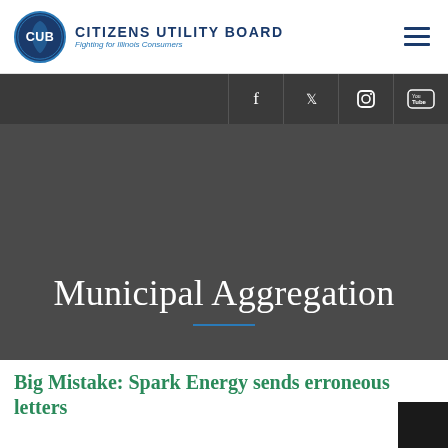CITIZENS UTILITY BOARD — Fighting for Illinois Consumers
[Figure (logo): Citizens Utility Board circular logo with CUB text and Illinois state shape, alongside organization name and tagline]
Municipal Aggregation
Big Mistake: Spark Energy sends erroneous letters to...